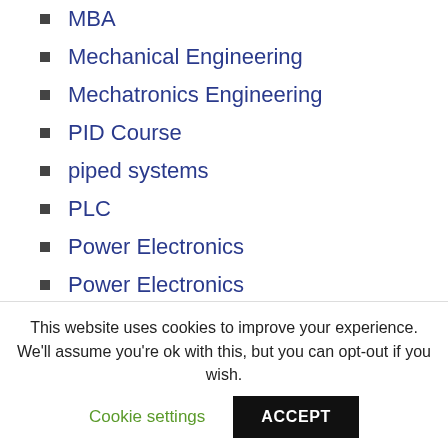MBA
Mechanical Engineering
Mechatronics Engineering
PID Course
piped systems
PLC
Power Electronics
Power Electronics
Productivity
Programming
Pumps
This website uses cookies to improve your experience. We'll assume you're ok with this, but you can opt-out if you wish.
Cookie settings
ACCEPT